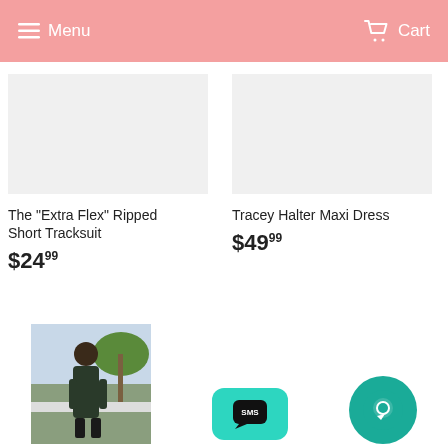Menu  Cart
The "Extra Flex" Ripped Short Tracksuit
$24.99
Tracey Halter Maxi Dress
$49.99
[Figure (photo): Woman wearing a dark patterned tracksuit standing outdoors near palm trees]
[Figure (illustration): Green SMS chat bubble button]
[Figure (illustration): Teal circular chat/message icon button]